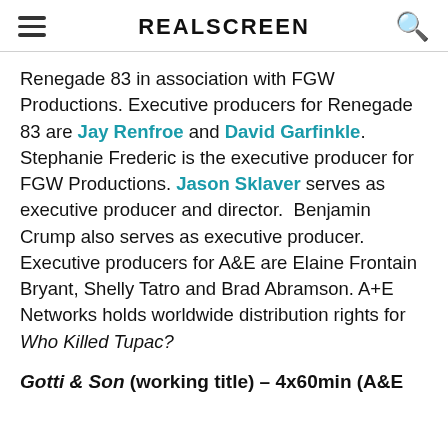REALSCREEN
Renegade 83 in association with FGW Productions. Executive producers for Renegade 83 are Jay Renfroe and David Garfinkle. Stephanie Frederic is the executive producer for FGW Productions. Jason Sklaver serves as executive producer and director.  Benjamin Crump also serves as executive producer. Executive producers for A&E are Elaine Frontain Bryant, Shelly Tatro and Brad Abramson. A+E Networks holds worldwide distribution rights for Who Killed Tupac?
Gotti & Son (working title) – 4x60min (A&E